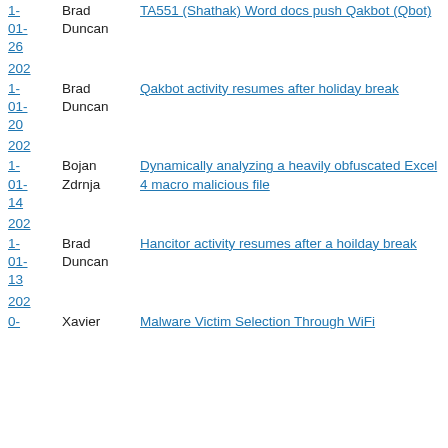2021-01-26  Brad Duncan  TA551 (Shathak) Word docs push Qakbot (Qbot)
2021-01-20  Brad Duncan  Qakbot activity resumes after holiday break
2021-01-14  Bojan Zdrnja  Dynamically analyzing a heavily obfuscated Excel 4 macro malicious file
2021-01-13  Brad Duncan  Hancitor activity resumes after a hoilday break
2020-  Xavier  Malware Victim Selection Through WiFi